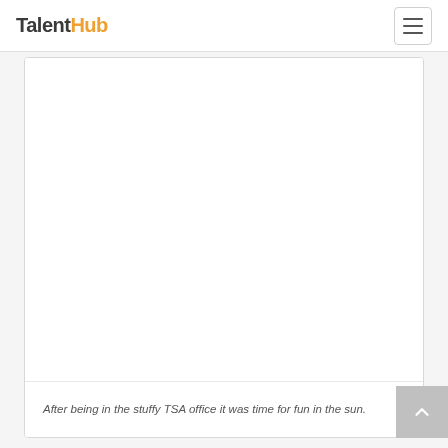TalentHub
[Figure (photo): Large white/blank image area inside a card on a TalentHub website page]
After being in the stuffy TSA office it was time for fun in the sun.